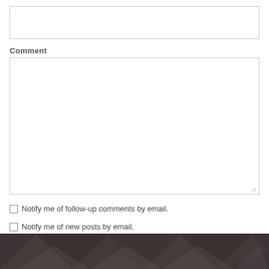[Figure (screenshot): Empty text input box at the top of a web comment form]
Comment
[Figure (screenshot): Large empty textarea for comment input with resize handle]
Notify me of follow-up comments by email.
Notify me of new posts by email.
[Figure (illustration): Dark footer background with geometric triangle pattern and blue accent bar]